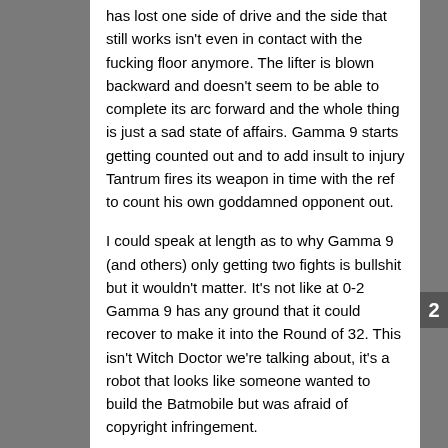has lost one side of drive and the side that still works isn't even in contact with the fucking floor anymore. The lifter is blown backward and doesn't seem to be able to complete its arc forward and the whole thing is just a sad state of affairs. Gamma 9 starts getting counted out and to add insult to injury Tantrum fires its weapon in time with the ref to count his own goddamned opponent out.
I could speak at length as to why Gamma 9 (and others) only getting two fights is bullshit but it wouldn't matter. It's not like at 0-2 Gamma 9 has any ground that it could recover to make it into the Round of 32. This isn't Witch Doctor we're talking about, it's a robot that looks like someone wanted to build the Batmobile but was afraid of copyright infringement.
WINNER: Tantrum, KO
HYPERSHOCK vs. END GAME